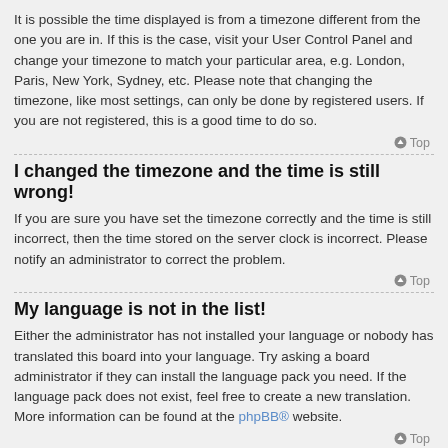It is possible the time displayed is from a timezone different from the one you are in. If this is the case, visit your User Control Panel and change your timezone to match your particular area, e.g. London, Paris, New York, Sydney, etc. Please note that changing the timezone, like most settings, can only be done by registered users. If you are not registered, this is a good time to do so.
⬆ Top
I changed the timezone and the time is still wrong!
If you are sure you have set the timezone correctly and the time is still incorrect, then the time stored on the server clock is incorrect. Please notify an administrator to correct the problem.
⬆ Top
My language is not in the list!
Either the administrator has not installed your language or nobody has translated this board into your language. Try asking a board administrator if they can install the language pack you need. If the language pack does not exist, feel free to create a new translation. More information can be found at the phpBB® website.
⬆ Top
What are the images next to my username?
There are two images which may appear along with a username when